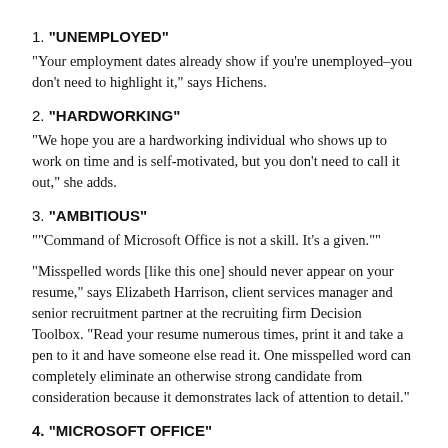1. "UNEMPLOYED"
“Your employment dates already show if you’re unemployed–you don’t need to highlight it,” says Hichens.
2. "HARDWORKING"
“We hope you are a hardworking individual who shows up to work on time and is self-motivated, but you don’t need to call it out,” she adds.
3. "AMBITIOUS"
““Command of Microsoft Office is not a skill. It’s a given.””
“Misspelled words [like this one] should never appear on your resume,” says Elizabeth Harrison, client services manager and senior recruitment partner at the recruiting firm Decision Toolbox. “Read your resume numerous times, print it and take a pen to it and have someone else read it. One misspelled word can completely eliminate an otherwise strong candidate from consideration because it demonstrates lack of attention to detail.”
4. "MICROSOFT OFFICE"
“Popular resume templates and HR pros prompt job seekers